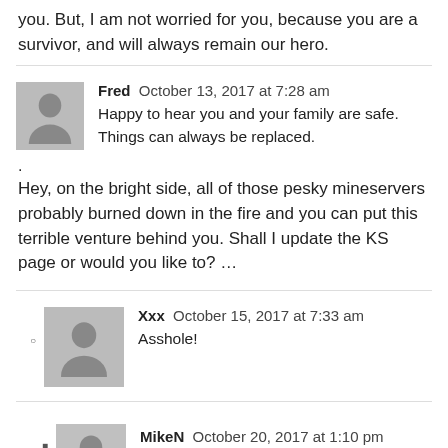you. But, I am not worried for you, because you are a survivor, and will always remain our hero.
Fred  October 13, 2017 at 7:28 am
Happy to hear you and your family are safe. Things can always be replaced.
.
Hey, on the bright side, all of those pesky mineservers probably burned down in the fire and you can put this terrible venture behind you. Shall I update the KS page or would you like to? …
Xxx  October 15, 2017 at 7:33 am
Asshole!
MikeN  October 20, 2017 at 1:10 pm